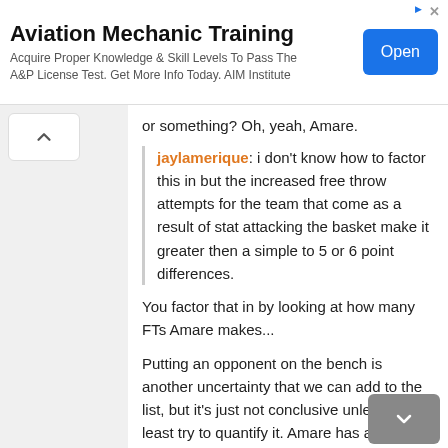[Figure (other): Advertisement banner for Aviation Mechanic Training by AIM Institute with an Open button]
or something? Oh, yeah, Amare.
jaylamerique: i don't know how to factor this in but the increased free throw attempts for the team that come as a result of stat attacking the basket make it greater then a simple to 5 or 6 point differences.
You factor that in by looking at how many FTs Amare makes...
Putting an opponent on the bench is another uncertainty that we can add to the list, but it's just not conclusive unless you at least try to quantify it. Amare has about 4 more